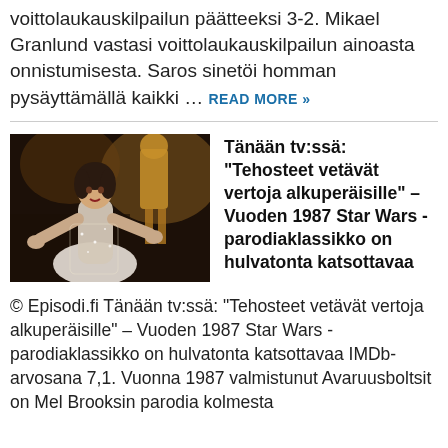voittolaukauskilpailun päätteeksi 3-2. Mikael Granlund vastasi voittolaukauskilpailun ainoasta onnistumisesta. Saros sinetöi homman pysäyttämällä kaikki … READ MORE »
[Figure (photo): A woman in a white sparkly dress with arms outstretched, movie still from a 1987 Star Wars parody film]
Tänään tv:ssä: "Tehosteet vetävät vertoja alkuperäisille" – Vuoden 1987 Star Wars -parodiaklassikko on hulvatonta katsottavaa
© Episodi.fi Tänään tv:ssä: "Tehosteet vetävät vertoja alkuperäisille" – Vuoden 1987 Star Wars -parodiaklassikko on hulvatonta katsottavaa IMDb-arvosana 7,1. Vuonna 1987 valmistunut Avaruusboltsit on Mel Brooksin parodia kolmesta